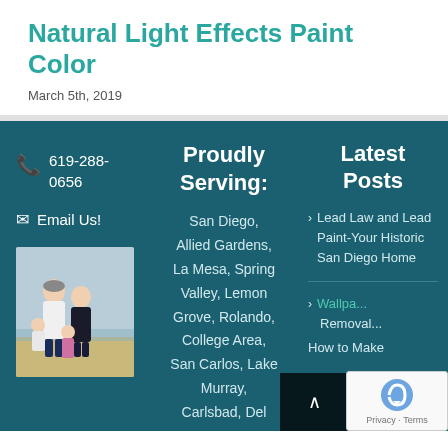Natural Light Effects Paint Color
March 5th, 2019
619-288-0656
Email Us!
[Figure (photo): Family photo of a man, woman and two children standing on a beach]
Proudly Serving:
San Diego, Allied Gardens, La Mesa, Spring Valley, Lemon Grove, Rolando, College Area, San Carlos, Lake Murray, Carlsbad, Del
Latest Posts
Lead Law and Lead Paint-Your Historic San Diego Home
Wallpaper Removal... How to Make